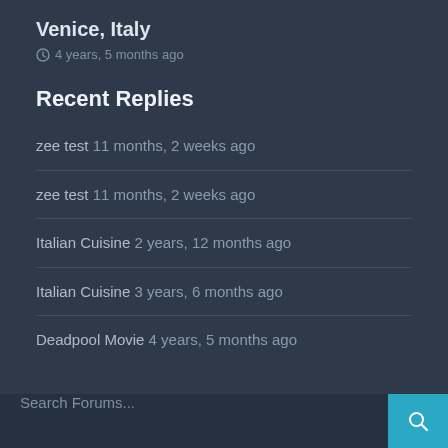Venice, Italy
4 years, 5 months ago
Recent Replies
zee test 11 months, 2 weeks ago
zee test 11 months, 2 weeks ago
Italian Cuisine 2 years, 12 months ago
Italian Cuisine 3 years, 6 months ago
Deadpool Movie 4 years, 5 months ago
Search Forums...